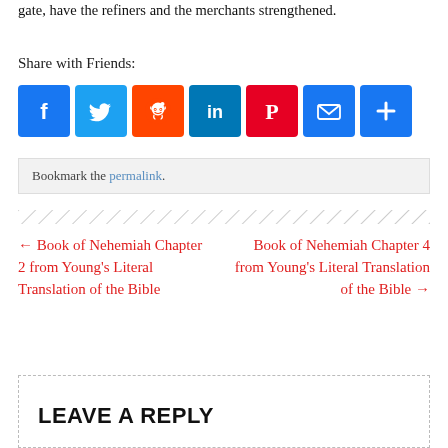gate, have the refiners and the merchants strengthened.
Share with Friends:
[Figure (other): Social sharing icons: Facebook, Twitter, Reddit, LinkedIn, Pinterest, Email, Share/AddThis]
Bookmark the permalink.
[Figure (other): Diagonal hatch pattern divider]
← Book of Nehemiah Chapter 2 from Young's Literal Translation of the Bible
Book of Nehemiah Chapter 4 from Young's Literal Translation of the Bible →
LEAVE A REPLY